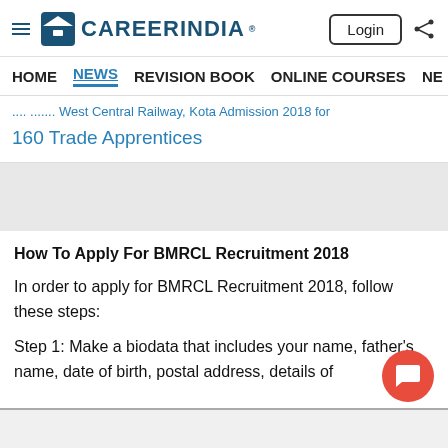CareerIndia - Login
HOME  NEWS  REVISION BOOK  ONLINE COURSES  NE
... West Central Railway, Kota Admission 2018 for 160 Trade Apprentices
How To Apply For BMRCL Recruitment 2018
In order to apply for BMRCL Recruitment 2018, follow these steps:
Step 1: Make a biodata that includes your name, father's name, date of birth, postal address, details of